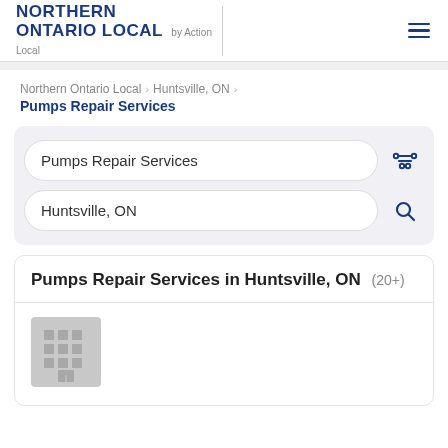NORTHERN ONTARIO LOCAL by Action Local
Northern Ontario Local > Huntsville, ON > Pumps Repair Services
Pumps Repair Services
Huntsville, ON
Pumps Repair Services in Huntsville, ON (20+)
[Figure (illustration): Building/business placeholder icon (gray square with grid of windows)]